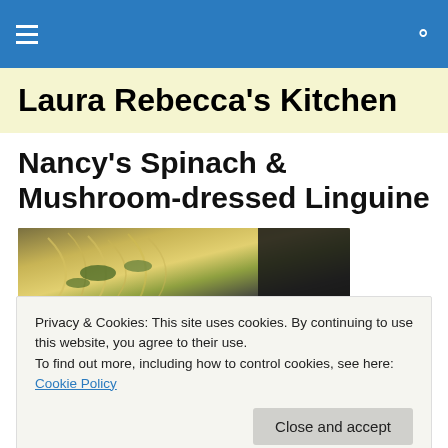Laura Rebecca's Kitchen — navigation bar with hamburger menu and search icon
Laura Rebecca's Kitchen
Nancy's Spinach & Mushroom-dressed Linguine
[Figure (photo): Photo of spinach and mushroom linguine pasta in a pan]
Privacy & Cookies: This site uses cookies. By continuing to use this website, you agree to their use.
To find out more, including how to control cookies, see here: Cookie Policy
Close and accept